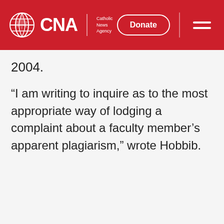CNA | Catholic News Agency | Donate
2004.
“I am writing to inquire as to the most appropriate way of lodging a complaint about a faculty member’s apparent plagiarism,” wrote Hobbib.